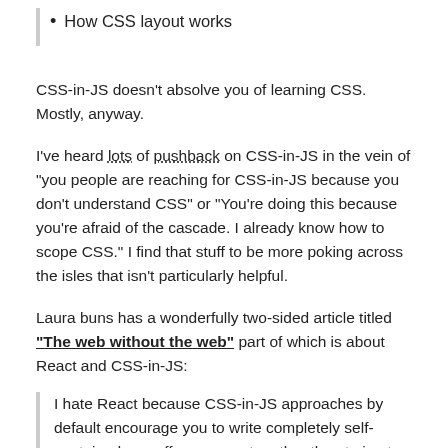How CSS layout works
CSS-in-JS doesn't absolve you of learning CSS. Mostly, anyway.
I've heard lots of pushback on CSS-in-JS in the vein of "you people are reaching for CSS-in-JS because you don't understand CSS" or "You're doing this because you're afraid of the cascade. I already know how to scope CSS." I find that stuff to be more poking across the isles that isn't particularly helpful.
Laura buns has a wonderfully two-sided article titled "The web without the web" part of which is about React and CSS-in-JS:
I hate React because CSS-in-JS approaches by default encourage you to write completely self-contained one off components rather than trying to build a website UI up as a whole.
You don't need to use CSS-in-JS just because you use React, but it is popular and that's a very interesting and fair criticism. If you are a